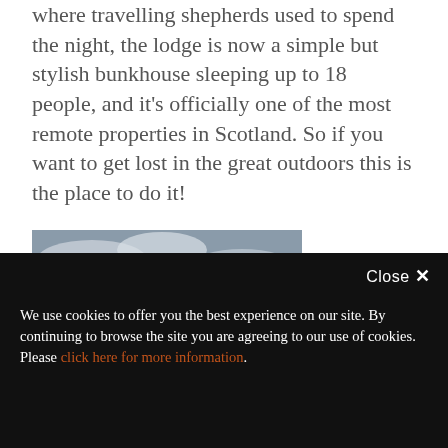where travelling shepherds used to spend the night, the lodge is now a simple but stylish bunkhouse sleeping up to 18 people, and it's officially one of the most remote properties in Scotland. So if you want to get lost in the great outdoors this is the place to do it!
[Figure (photo): Photograph of a large mountain with snow-dusted rocky peak, brown and orange slopes, under a grey sky.]
Close ✕
We use cookies to offer you the best experience on our site. By continuing to browse the site you are agreeing to our use of cookies.
Please click here for more information.